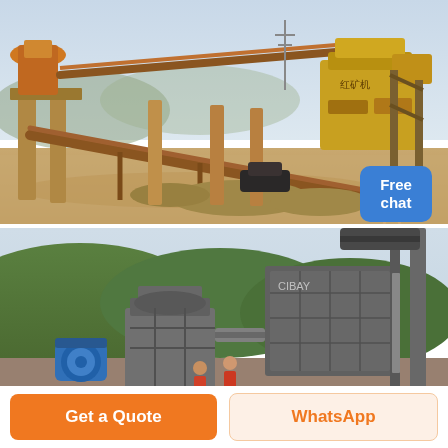[Figure (photo): Industrial mining/crushing plant with conveyor belts, yellow heavy machinery, and steel structures on a dusty desert site. A small figure of a person and a blue 'Free chat' badge overlay the bottom-right corner.]
[Figure (photo): Quarry operation with large crusher machines, blue motor, conveyor structure, and green hills in the background under a light sky.]
Free chat
Get a Quote
WhatsApp